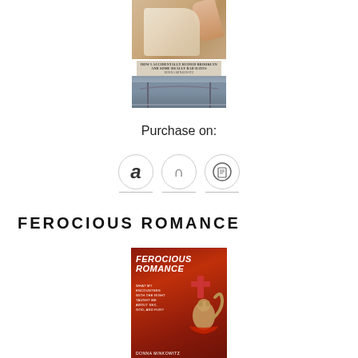[Figure (illustration): Book cover of a Donna Minkowitz book showing hands and Brooklyn Bridge, with text about Brooklyn and bad dates]
Purchase on:
[Figure (illustration): Purchase icons: Amazon (a), Barnes & Noble (n), and Open Library (book icon)]
FEROCIOUS ROMANCE
[Figure (illustration): Book cover of 'Ferocious Romance: What My Encounters with the Right Taught Me About Sex, God, and Fury' by Donna Minkowitz. Red cover with tattoo imagery.]